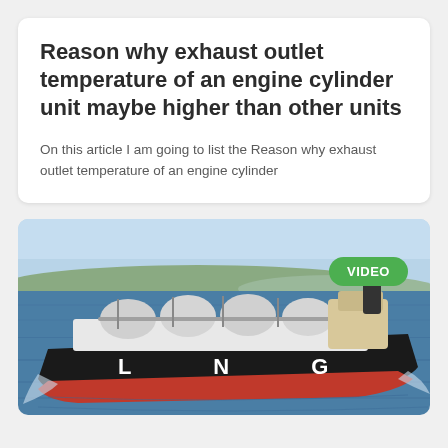Reason why exhaust outlet temperature of an engine cylinder unit maybe higher than other units
On this article I am going to list the Reason why exhaust outlet temperature of an engine cylinder
[Figure (photo): Aerial view of an LNG tanker ship sailing at sea with VIDEO badge overlay in green.]